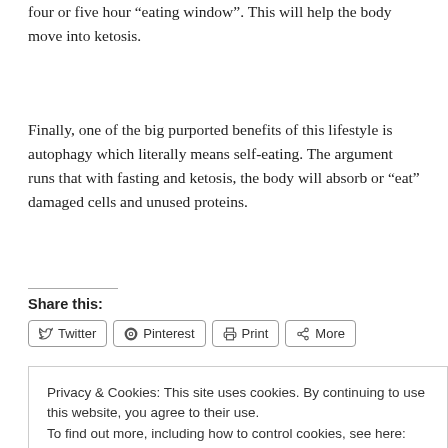four or five hour “eating window”. This will help the body move into ketosis.
Finally, one of the big purported benefits of this lifestyle is autophagy which literally means self-eating. The argument runs that with fasting and ketosis, the body will absorb or “eat” damaged cells and unused proteins.
Share this:
Twitter  Pinterest  Print  More
Like
Privacy & Cookies: This site uses cookies. By continuing to use this website, you agree to their use.
To find out more, including how to control cookies, see here: Cookie Policy
Close and accept